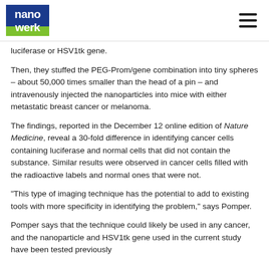[Figure (logo): Nanowerk logo — blue square with white 'nano' text on top and 'werk' text on bottom, green bar beneath]
luciferase or HSV1tk gene.
Then, they stuffed the PEG-Prom/gene combination into tiny spheres – about 50,000 times smaller than the head of a pin – and intravenously injected the nanoparticles into mice with either metastatic breast cancer or melanoma.
The findings, reported in the December 12 online edition of Nature Medicine, reveal a 30-fold difference in identifying cancer cells containing luciferase and normal cells that did not contain the substance. Similar results were observed in cancer cells filled with the radioactive labels and normal ones that were not.
"This type of imaging technique has the potential to add to existing tools with more specificity in identifying the problem," says Pomper.
Pomper says that the technique could likely be used in any cancer, and the nanoparticle and HSV1tk gene used in the current study have been tested previously